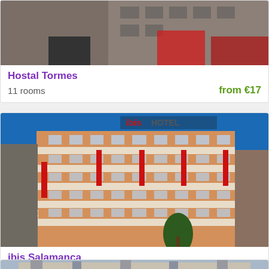[Figure (photo): Exterior photo of Hostal Tormes building street view]
Hostal Tormes
11 rooms    from €17
[Figure (photo): Exterior photo of ibis Salamanca hotel building, modern orange and beige multi-story facade with ibis banners]
ibis Salamanca
★★ - 62 rooms    from €44
[Figure (photo): Partial exterior photo of another hotel building]